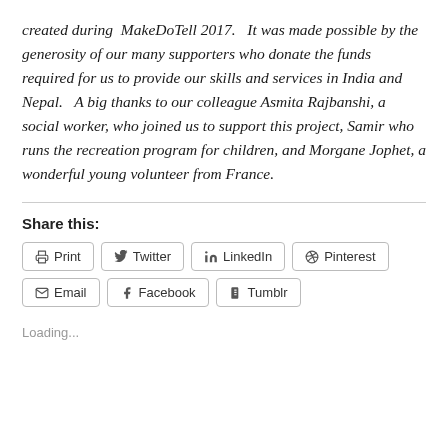created during MakeDoTell 2017.  It was made possible by the generosity of our many supporters who donate the funds required for us to provide our skills and services in India and Nepal.  A big thanks to our colleague Asmita Rajbanshi, a social worker, who joined us to support this project, Samir who runs the recreation program for children, and Morgane Jophet, a wonderful young volunteer from France.
Share this:
Print | Twitter | LinkedIn | Pinterest | Email | Facebook | Tumblr
Loading...